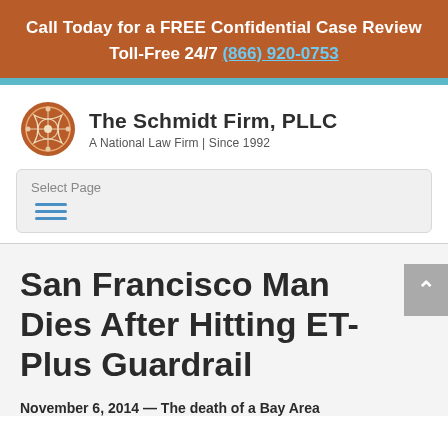Call Today for a FREE Confidential Case Review Toll-Free 24/7 (866) 920-0753
[Figure (logo): The Schmidt Firm, PLLC logo — circular orange emblem with decorative pattern, next to text 'The Schmidt Firm, PLLC' and tagline 'A National Law Firm | Since 1992']
Select Page
San Francisco Man Dies After Hitting ET-Plus Guardrail
November 6, 2014 — The death of a Bay Area...